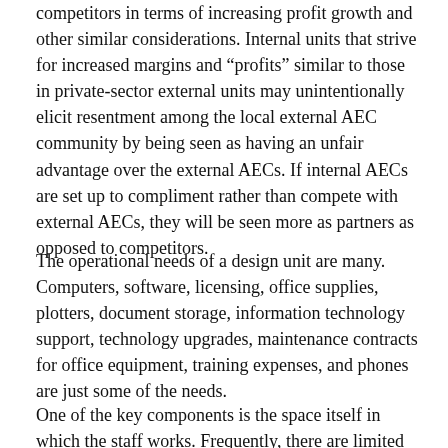competitors in terms of increasing profit growth and other similar considerations. Internal units that strive for increased margins and “profits” similar to those in private-sector external units may unintentionally elicit resentment among the local external AEC community by being seen as having an unfair advantage over the external AECs. If internal AECs are set up to compliment rather than compete with external AECs, they will be seen more as partners as opposed to competitors.
The operational needs of a design unit are many. Computers, software, licensing, office supplies, plotters, document storage, information technology support, technology upgrades, maintenance contracts for office equipment, training expenses, and phones are just some of the needs.
One of the key components is the space itself in which the staff works. Frequently, there are limited choices for a new unit’s space (the unit often simply gets what it is given). However, when the opportunity does arrive to customize a space, thoughtful consideration should be given to how the staff will